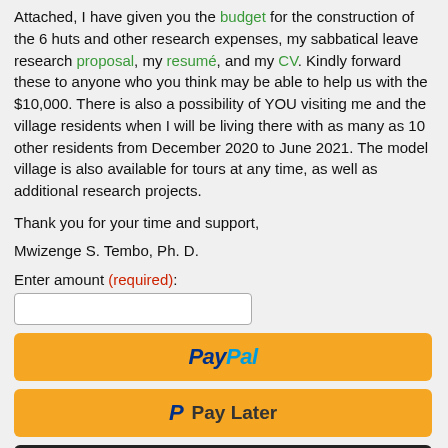Attached, I have given you the budget for the construction of the 6 huts and other research expenses, my sabbatical leave research proposal, my resumé, and my CV. Kindly forward these to anyone who you think may be able to help us with the $10,000. There is also a possibility of YOU visiting me and the village residents when I will be living there with as many as 10 other residents from December 2020 to June 2021. The model village is also available for tours at any time, as well as additional research projects.
Thank you for your time and support,
Mwizenge S. Tembo, Ph. D.
Enter amount (required):
[Figure (screenshot): PayPal payment button - yellow/orange button with PayPal logo in blue italic text]
[Figure (screenshot): Pay Later button - yellow/orange button with PayPal P icon and 'Pay Later' text]
[Figure (screenshot): Debit or Credit Card button - dark/black button with card icon and white text]